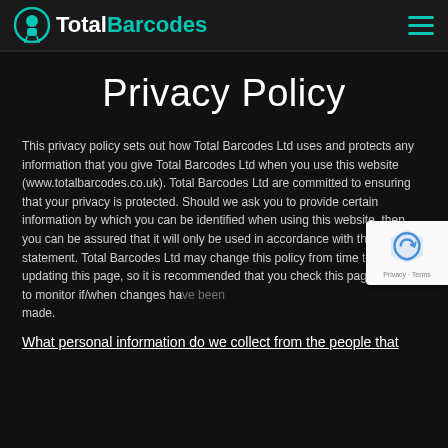Total Barcodes
Privacy Policy
This privacy policy sets out how Total Barcodes Ltd uses and protects any information that you give Total Barcodes Ltd when you use this website (www.totalbarcodes.co.uk). Total Barcodes Ltd are committed to ensuring that your privacy is protected. Should we ask you to provide certain information by which you can be identified when using this website, then you can be assured that it will only be used in accordance with this privacy statement. Total Barcodes Ltd may change this policy from time to time by updating this page, so it is recommended that you check this page regularly to monitor if/when changes have been made.
What personal information do we collect from the people that